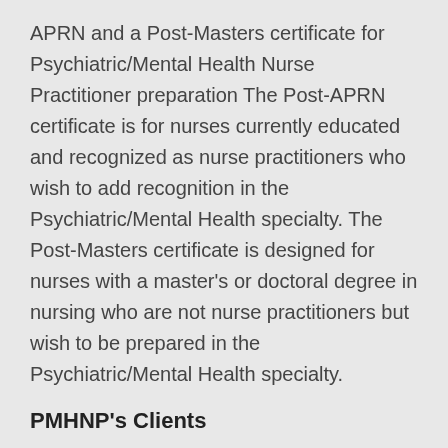APRN and a Post-Masters certificate for Psychiatric/Mental Health Nurse Practitioner preparation The Post-APRN certificate is for nurses currently educated and recognized as nurse practitioners who wish to add recognition in the Psychiatric/Mental Health specialty. The Post-Masters certificate is designed for nurses with a master's or doctoral degree in nursing who are not nurse practitioners but wish to be prepared in the Psychiatric/Mental Health specialty.
PMHNP's Clients
PMHNPs work with a diverse range of